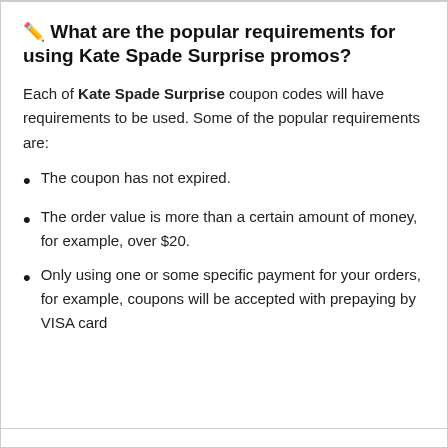✏️ What are the popular requirements for using Kate Spade Surprise promos?
Each of Kate Spade Surprise coupon codes will have requirements to be used. Some of the popular requirements are:
The coupon has not expired.
The order value is more than a certain amount of money, for example, over $20.
Only using one or some specific payment for your orders, for example, coupons will be accepted with prepaying by VISA card